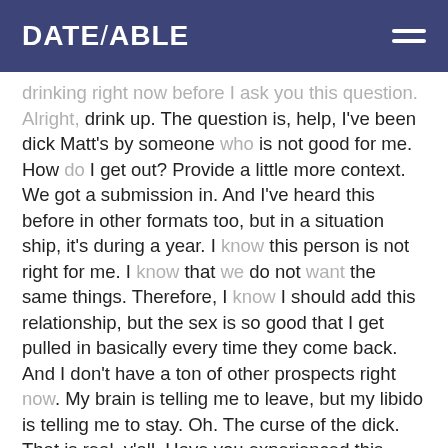DATE/ABLE
drinking right now before I ask you this question. Alright, drink up. The question is, help, I've been dick Matt's by someone who is not good for me. How do I get out? Provide a little more context. We got a submission in. And I've heard this before in other formats too, but in a situation ship, it's during a year. I know this person is not right for me. I know that we do not want the same things. Therefore, I know I should add this relationship, but the sex is so good that I get pulled in basically every time they come back. And I don't have a ton of other prospects right now. My brain is telling me to leave, but my libido is telling me to stay. Oh. The curse of the dick. That is real, y'all. Have you experienced this before, Julie? Oh yeah. Oh yeah. I think we all have. And you were like, this is not a good situation. Yet. And you try to